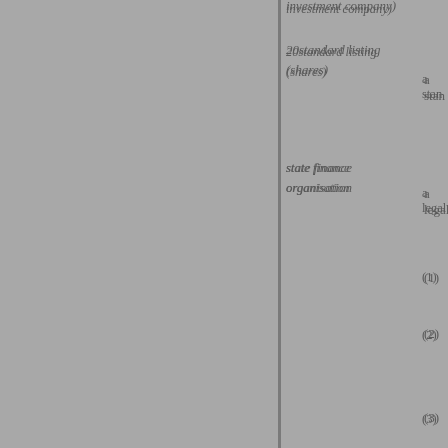investment company)
20standard listing (shares)
a stan
state finance organisation
a legal
(1)
(2)
(3)
(4)
(5)
state monopoly
a comp
(1)
(2)
subsidiary undertaking
as defi
66815